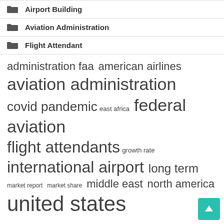Airport Building
Aviation Administration
Flight Attendant
[Figure (infographic): Tag cloud with aviation/travel related terms in varying font sizes: administration faa, american airlines (medium), aviation administration (large), covid pandemic (medium), east africa (small), federal aviation (large), flight attendants (large), growth rate (small), international airport (large), long term (medium), market report (small), market share (small), middle east (medium), north america (medium), united states (large-cropped at bottom)]